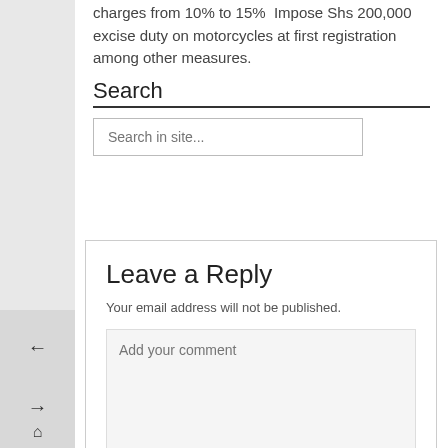charges from 10% to 15%  Impose Shs 200,000 excise duty on motorcycles at first registration among other measures.
Search
Search in site...
Leave a Reply
Your email address will not be published.
Add your comment